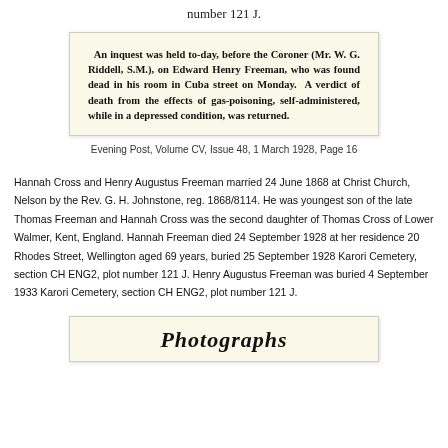number 121 J.
[Figure (other): Scanned newspaper clipping on cream background: 'An inquest was held to-day, before the Coroner (Mr. W. G. Riddell, S.M.), on Edward Henry Freeman, who was found dead in his room in Cuba street on Monday. A verdict of death from the effects of gas-poisoning, self-administered, while in a depressed condition, was returned.']
Evening Post, Volume CV, Issue 48, 1 March 1928, Page 16
Hannah Cross and Henry Augustus Freeman married 24 June 1868 at Christ Church, Nelson by the Rev. G. H. Johnstone, reg. 1868/8114. He was youngest son of the late Thomas Freeman and Hannah Cross was the second daughter of Thomas Cross of Lower Walmer, Kent, England. Hannah Freeman died 24 September 1928 at her residence 20 Rhodes Street, Wellington aged 69 years, buried 25 September 1928 Karori Cemetery, section CH ENG2, plot number 121 J. Henry Augustus Freeman was buried 4 September 1933 Karori Cemetery, section CH ENG2, plot number 121 J.
[Figure (other): Partial view of a scanned document with italic bold heading beginning 'Photographs' on cream background]